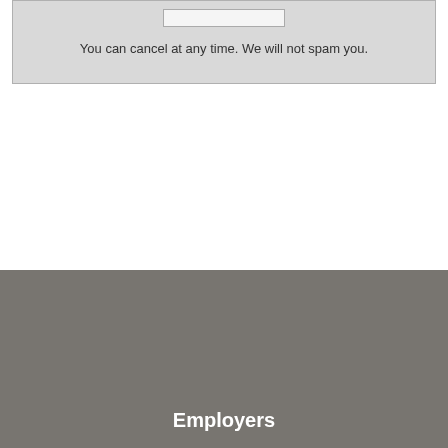You can cancel at any time. We will not spam you.
Zigo.co.za uses cookies to help us deliver our services. Read more about our cookie policy here.
Employers